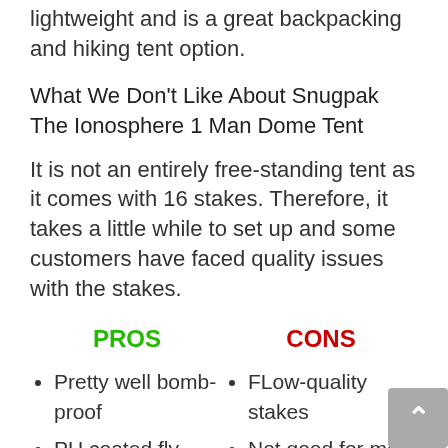lightweight and is a great backpacking and hiking tent option.
What We Don't Like About Snugpak The Ionosphere 1 Man Dome Tent
It is not an entirely free-standing tent as it comes with 16 stakes. Therefore, it takes a little while to set up and some customers have faced quality issues with the stakes.
PROS
CONS
Pretty well bomb-proof
PU coated fly, waterproof
Mosquito net...
FLow-quality stakes
Not good for more than 1